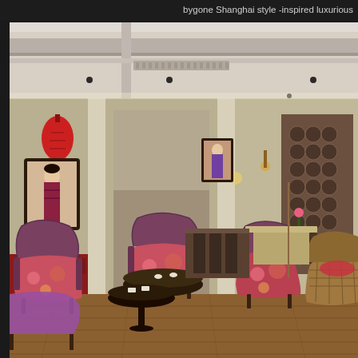bygone Shanghai style -inspired luxurious
[Figure (photo): Interior of a Shanghai-style restaurant or lounge with eclectic Chinese-inspired decor. Features upholstered armchairs with colorful floral/abstract fabric patterns in red and earth tones, dark wood tables, red Chinese lanterns hanging from the ceiling, a portrait painting of a woman in traditional Chinese dress on the wall, decorative patterned wall panel on the right side, exposed ceiling beams, warm lighting, and wooden floors. The space has multiple seating areas visible through open archways.]